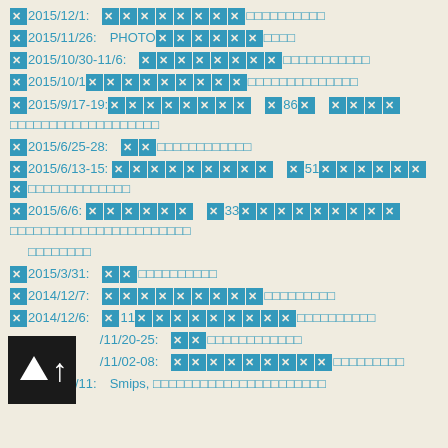■2015/12/1: ■■■■■■■■■■■■■■■■■■
■2015/11/26: PHOTO■■■■■■■■■■
■2015/10/30-11/6: ■■■■■■■■■■■■■■■■■■■
■2015/10/1■■■■■■■■■■■■■■■■■■■■■■■
■2015/9/17-19:■■■■■■■■ ■86■ ■■■■■■■■■■■■■■■■■■■■■■■
■2015/6/25-28: ■■■■■■■■■■■■■■
■2015/6/13-15: ■■■■■■■■■ ■51■■■■■■■■■■■■■■■■■■■■■■
■2015/6/6: ■■■■■■ ■33■■■■■■■■■■■■■■■■■■■■■■■■■■■■■■■■■■■■■■
■2015/3/31: ■■■■■■■■■■■
■2014/12/7: ■■■■■■■■■■■■■■■■■
■2014/12/6: ■11■■■■■■■■■■■■■■■■
■2014/11/20-25: ■■■■■■■■■■■■■
■2014/11/02-08: ■■■■■■■■■■■■■■■
■2014/10/11: Smips, ■■■■■■■■■■■■■■■■■■■■